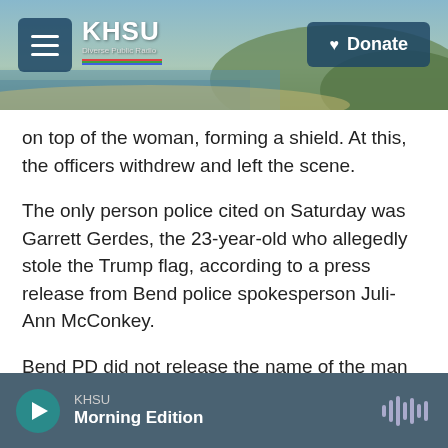KHSU — Diverse Public Radio | Donate
on top of the woman, forming a shield. At this, the officers withdrew and left the scene.
The only person police cited on Saturday was Garrett Gerdes, the 23-year-old who allegedly stole the Trump flag, according to a press release from Bend police spokesperson Juli-Ann McConkey.
Bend PD did not release the name of the man whose gun was confiscated, and on Sunday McConkey said that information was not immediately available.
"There's still a lot of investigation that's been...
KHSU — Morning Edition